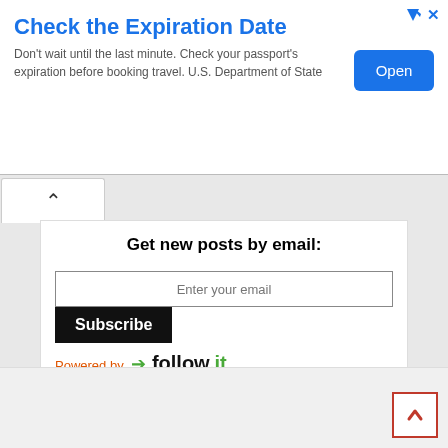Check the Expiration Date
Don't wait until the last minute. Check your passport's expiration before booking travel. U.S. Department of State
Get new posts by email:
Powered by follow.it